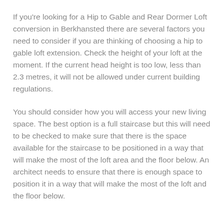If you're looking for a Hip to Gable and Rear Dormer Loft conversion in Berkhansted there are several factors you need to consider if you are thinking of choosing a hip to gable loft extension. Check the height of your loft at the moment. If the current head height is too low, less than 2.3 metres, it will not be allowed under current building regulations.
You should consider how you will access your new living space. The best option is a full staircase but this will need to be checked to make sure that there is the space available for the staircase to be positioned in a way that will make the most of the loft area and the floor below. An architect needs to ensure that there is enough space to position it in a way that will make the most of the loft and the floor below.